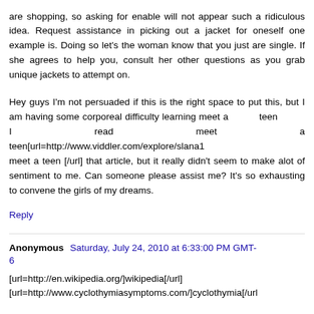are shopping, so asking for enable will not appear such a ridiculous idea. Request assistance in picking out a jacket for oneself one example is. Doing so let's the woman know that you just are single. If she agrees to help you, consult her other questions as you grab unique jackets to attempt on.
Hey guys I'm not persuaded if this is the right space to put this, but I am having some corporeal difficulty learning meet a teen I read meet a teen[url=http://www.viddler.com/explore/slana1 meet a teen [/url] that article, but it really didn't seem to make alot of sentiment to me. Can someone please assist me? It's so exhausting to convene the girls of my dreams.
Reply
Anonymous Saturday, July 24, 2010 at 6:33:00 PM GMT-6
[url=http://en.wikipedia.org/]wikipedia[/url] [url=http://www.cyclothymiasymptoms.com/]cyclothymia[/url